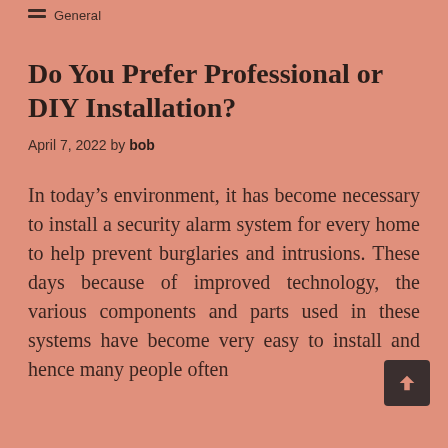General
Do You Prefer Professional or DIY Installation?
April 7, 2022 by bob
In today’s environment, it has become necessary to install a security alarm system for every home to help prevent burglaries and intrusions. These days because of improved technology, the various components and parts used in these systems have become very easy to install and hence many people often